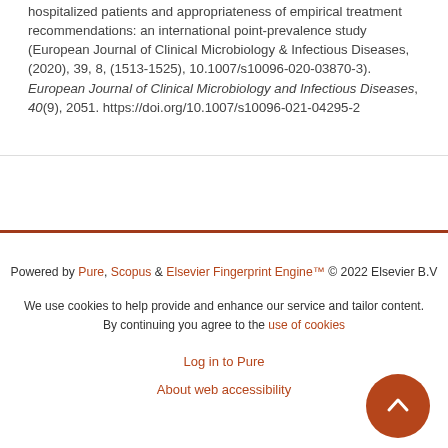hospitalized patients and appropriateness of empirical treatment recommendations: an international point-prevalence study (European Journal of Clinical Microbiology & Infectious Diseases, (2020), 39, 8, (1513-1525), 10.1007/s10096-020-03870-3). European Journal of Clinical Microbiology and Infectious Diseases, 40(9), 2051. https://doi.org/10.1007/s10096-021-04295-2
Powered by Pure, Scopus & Elsevier Fingerprint Engine™ © 2022 Elsevier B.V
We use cookies to help provide and enhance our service and tailor content. By continuing you agree to the use of cookies
Log in to Pure
About web accessibility